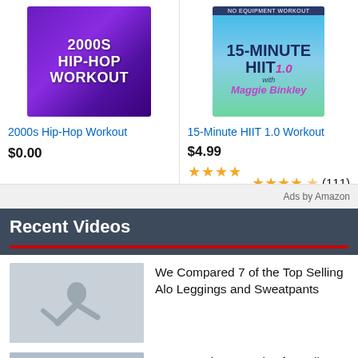[Figure (photo): 2000s Hip-Hop Workout product image with purple/violet background]
2000s Hip-Hop Workout
$0.00
[Figure (photo): 15-Minute HIIT 1.0 Workout with Maggie Binkley product image, outdoor sky background]
15-Minute HIIT 1.0 Workout
$4.99
★★★★☆ (111)
Ads by Amazon
Recent Videos
[Figure (photo): Yoga/stretch pose woman in grey outfit]
We Compared 7 of the Top Selling Alo Leggings and Sweatpants
[Figure (photo): Gym exercise scene]
Fast Morning Exercise for Full Body | Eva